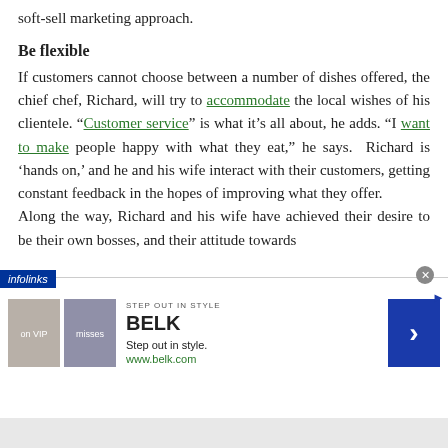soft-sell marketing approach.
Be flexible
If customers cannot choose between a number of dishes offered, the chief chef, Richard, will try to accommodate the local wishes of his clientele. “Customer service” is what it’s all about, he adds. “I want to make people happy with what they eat,” he says. Richard is ‘hands on,’ and he and his wife interact with their customers, getting constant feedback in the hopes of improving what they offer.
Along the way, Richard and his wife have achieved their desire to be their own bosses, and their attitude towards
[Figure (screenshot): Infolinks advertisement bar at bottom of page showing BELK department store ad with 'Step out in style.' tagline and www.belk.com URL, with two fashion images and a blue arrow button.]